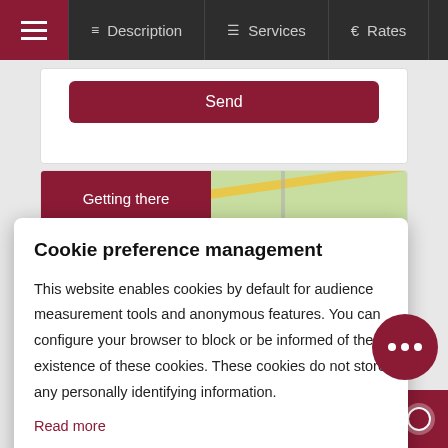Description | Services | Rates
Send
Getting there
Cookie preference management
This website enables cookies by default for audience measurement tools and anonymous features. You can configure your browser to block or be informed of the existence of these cookies. These cookies do not store any personally identifying information.
Read more
No thanks | I choose | Ok for me